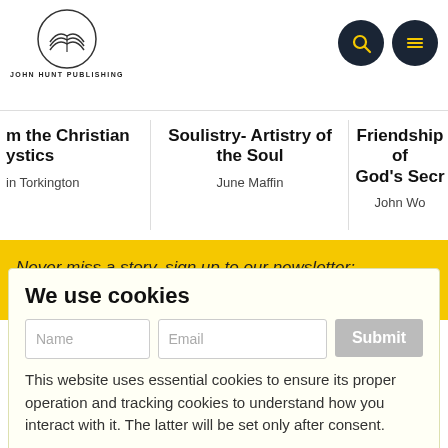[Figure (logo): John Hunt Publishing logo: open book inside circle with company name below]
[Figure (illustration): Navigation icons: search (magnifying glass) and menu (hamburger) as dark circular buttons]
m the Christian
ystics
in Torkington
Soulistry- Artistry of the Soul
June Maffin
Friendship of
God's Secr
John Wo
Never miss a story, sign up to our newsletter:
We use cookies
This website uses essential cookies to ensure its proper operation and tracking cookies to understand how you interact with it. The latter will be set only after consent.
[Figure (illustration): I agree dark button with John Hunt Publishing open book logo watermark]
JOHN HUNT PUBLISHING
Customize